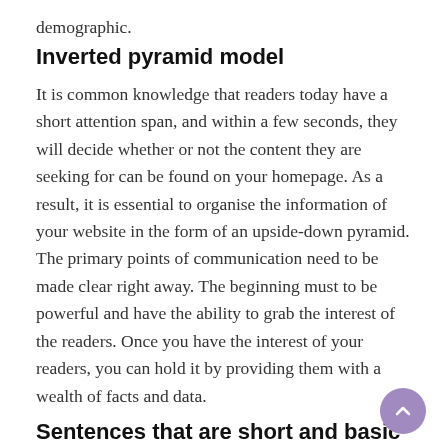demographic.
Inverted pyramid model
It is common knowledge that readers today have a short attention span, and within a few seconds, they will decide whether or not the content they are seeking for can be found on your homepage. As a result, it is essential to organise the information of your website in the form of an upside-down pyramid. The primary points of communication need to be made clear right away. The beginning must to be powerful and have the ability to grab the interest of the readers. Once you have the interest of your readers, you can hold it by providing them with a wealth of facts and data.
Sentences that are short and basic
The next stage is to become familiar with how to organise and compose your content. Create sentences that are brief and uncomplicated. Articles that are